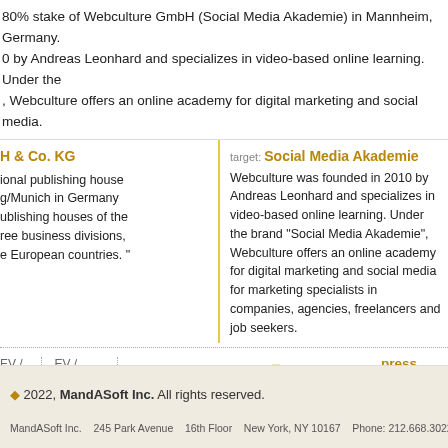80% stake of Webculture GmbH (Social Media Akademie) in Mannheim, Germany. 0 by Andreas Leonhard and specializes in video-based online learning. Under the , Webculture offers an online academy for digital marketing and social media.
H & Co. KG
ional publishing house g/Munich in Germany ublishing houses of the ree business divisions, e European countries. "
target: Social Media Akademie
Webculture was founded in 2010 by Andreas Leonhard and specializes in video-based online learning. Under the brand "Social Media Akademie", Webculture offers an online academy for digital marketing and social media for marketing specialists in companies, agencies, freelancers and job seekers.
EV / rev  EV / EBITDA  share  watch  bookmark  press release
6  7  8  9  10  11  12
© 2022, MandASoft Inc. All rights reserved.
MandASoft Inc.   245 Park Avenue   16th Floor   New York, NY 10167   Phone: 212.668.3022